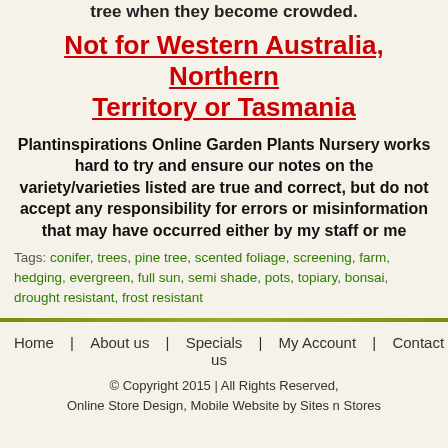tree when they become crowded.
Not for Western Australia, Northern Territory or Tasmania
Plantinspirations Online Garden Plants Nursery works hard to try and ensure our notes on the variety/varieties listed are true and correct, but do not accept any responsibility for errors or misinformation that may have occurred either by my staff or me
Tags: conifer, trees, pine tree, scented foliage, screening, farm, hedging, evergreen, full sun, semi shade, pots, topiary, bonsai, drought resistant, frost resistant
Home | About us | Specials | My Account | Contact us
© Copyright 2015 | All Rights Reserved, Online Store Design, Mobile Website by Sites n Stores